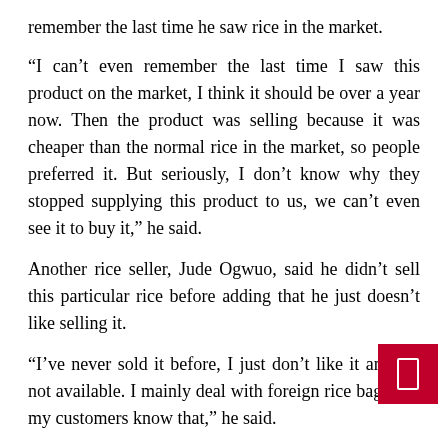remember the last time he saw rice in the market.
“I can’t even remember the last time I saw this product on the market, I think it should be over a year now. Then the product was selling because it was cheaper than the normal rice in the market, so people preferred it. But seriously, I don’t know why they stopped supplying this product to us, we can’t even see it to buy it,” he said.
Another rice seller, Jude Ogwuo, said he didn’t sell this particular rice before adding that he just doesn’t like selling it.
“I’ve never sold it before, I just don’t like it and it’s not available. I mainly deal with foreign rice bags and my customers know that,” he said.
Expectations